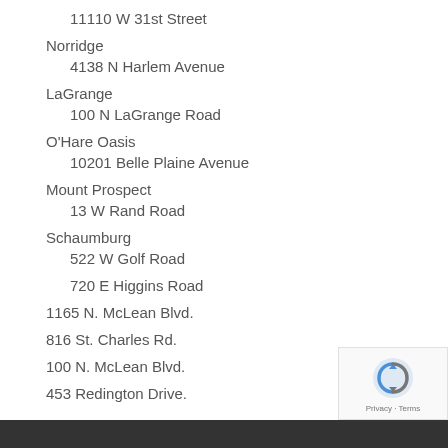11110 W 31st Street
Norridge
4138 N Harlem Avenue
LaGrange
100 N LaGrange Road
O'Hare Oasis
10201 Belle Plaine Avenue
Mount Prospect
13 W Rand Road
Schaumburg
522 W Golf Road
720 E Higgins Road
1165 N. McLean Blvd.
816 St. Charles Rd.
100 N. McLean Blvd.
453 Redington Drive.